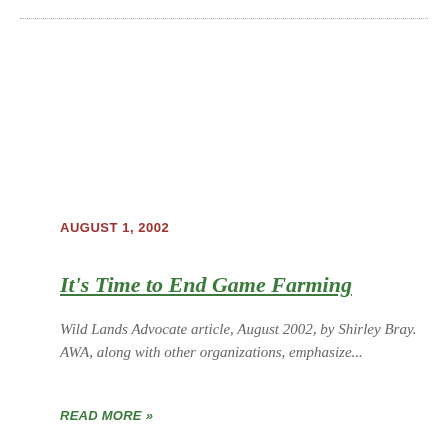...............................................................................................................
AUGUST 1, 2002
It's Time to End Game Farming
Wild Lands Advocate article, August 2002, by Shirley Bray. AWA, along with other organizations, emphasize...
READ MORE »